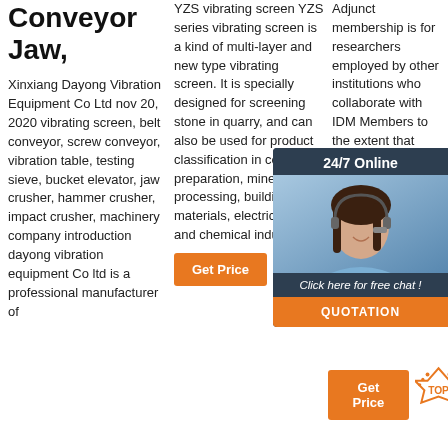Conveyor Jaw,
Xinxiang Dayong Vibration Equipment Co Ltd nov 20, 2020 vibrating screen, belt conveyor, screw conveyor, vibration table, testing sieve, bucket elevator, jaw crusher, hammer crusher, impact crusher, machinery company introduction dayong vibration equipment Co ltd is a professional manufacturer of
YZS vibrating screen YZS series vibrating screen is a kind of multi-layer and new type vibrating screen. It is specially designed for screening stone in quarry, and can also be used for product classification in coal preparation, mineral processing, building materials, electric power and chemical industry...
Adjunct membership is for researchers employed by other institutions who collaborate with IDM Members to the extent that some of their own staff and/or postgraduate students may work within the IDM; for terms, renewable.
[Figure (photo): Customer service representative with headset, chat widget overlay showing 24/7 Online, Click here for free chat, and QUOTATION button]
[Figure (other): TOP badge icon with orange dots]